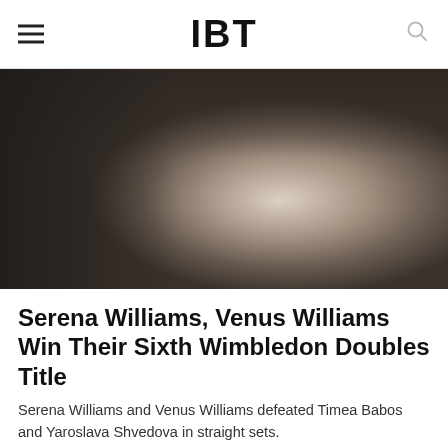IBT
[Figure (photo): Blurred dark brownish-grey indoor background with soft light glow in center-right area]
Serena Williams, Venus Williams Win Their Sixth Wimbledon Doubles Title
Serena Williams and Venus Williams defeated Timea Babos and Yaroslava Shvedova in straight sets.
Jul 10, 2016